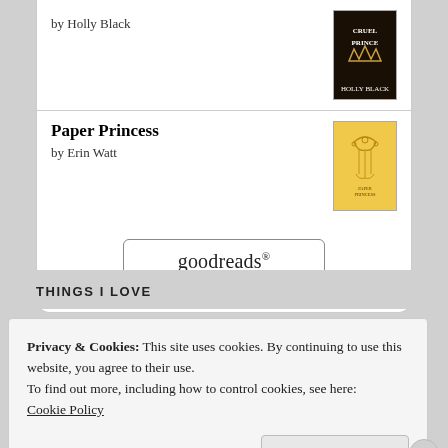by Holly Black
Paper Princess
by Erin Watt
[Figure (logo): goodreads button with rounded rectangle border]
THINGS I LOVE
Privacy & Cookies: This site uses cookies. By continuing to use this website, you agree to their use.
To find out more, including how to control cookies, see here:
Cookie Policy
Close and accept